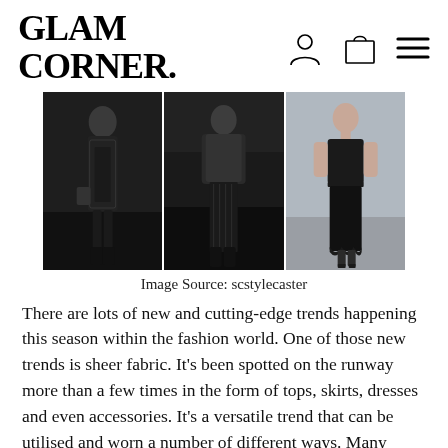GLAM CORNER.
[Figure (photo): Three fashion runway models wearing black sheer outfits side by side]
Image Source: scstylecaster
There are lots of new and cutting-edge trends happening this season within the fashion world. One of those new trends is sheer fabric. It's been spotted on the runway more than a few times in the form of tops, skirts, dresses and even accessories. It's a versatile trend that can be utilised and worn a number of different ways. Many consumers and fashionistas often feel intimidated by the idea of sheer. It has a tendency to show off a little too